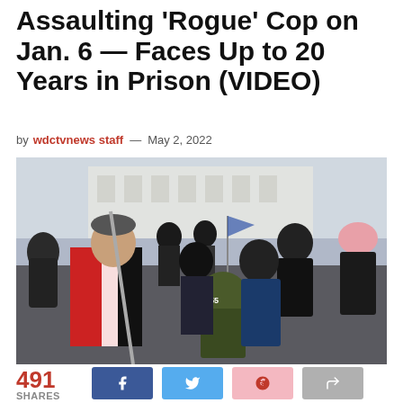Assaulting 'Rogue' Cop on Jan. 6 — Faces Up to 20 Years in Prison (VIDEO)
by wdctvnews staff — May 2, 2022
[Figure (photo): Crowd scene at U.S. Capitol on January 6, showing a man in a red and black jacket holding a pole, with other protesters in the background. One person wears a helmet labeled 3855.]
491 SHARES
[Figure (infographic): Social share buttons: Facebook, Twitter, Google+, and a share/forward button showing 491 total shares]